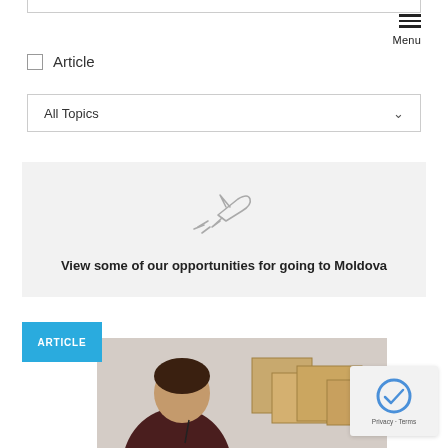Article | Menu
All Topics
[Figure (illustration): Airplane icon with motion lines indicating travel, inside a gray banner]
View some of our opportunities for going to Moldova
ARTICLE
[Figure (photo): A woman in a dark maroon sweater working with cardboard boxes, looking down]